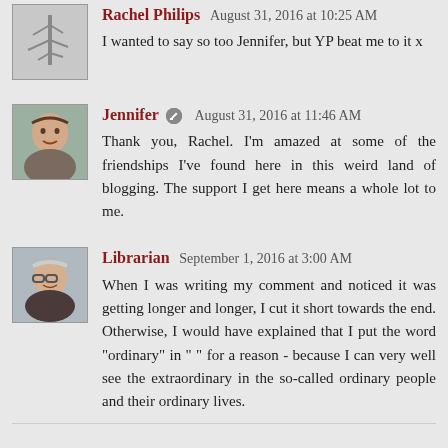Rachel Philips August 31, 2016 at 10:25 AM
I wanted to say so too Jennifer, but YP beat me to it x
Jennifer [edit icon] August 31, 2016 at 11:46 AM
Thank you, Rachel. I'm amazed at some of the friendships I've found here in this weird land of blogging. The support I get here means a whole lot to me.
Librarian September 1, 2016 at 3:00 AM
When I was writing my comment and noticed it was getting longer and longer, I cut it short towards the end. Otherwise, I would have explained that I put the word "ordinary" in " " for a reason - because I can very well see the extraordinary in the so-called ordinary people and their ordinary lives.